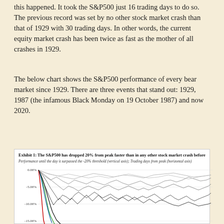this happened. It took the S&P500 just 16 trading days to do so. The previous record was set by no other stock market crash than that of 1929 with 30 trading days. In other words, the current equity market crash has been twice as fast as the mother of all crashes in 1929.
The below chart shows the S&P500 performance of every bear market since 1929. There are three events that stand out: 1929, 1987 (the infamous Black Monday on 19 October 1987) and now 2020.
[Figure (line-chart): Multi-line chart showing S&P500 performance until the day it surpassed the -20% threshold (vertical axis); Trading days from peak (horizontal axis). Multiple bear market episodes shown as overlapping lines. Y-axis shows 0.00%, -5.00%, -10.00%, -15.00%. Notable lines in red (2020), blue, green, and various shades of gray/black for historical crashes.]